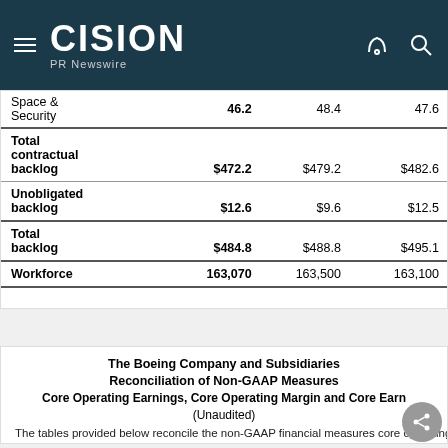CISION PR Newswire
|  | Col1 | Col2 | Col3 |
| --- | --- | --- | --- |
| Space & Security | 46.2 | 48.4 | 47.6 |
| Total contractual backlog | $472.2 | $479.2 | $482.6 |
| Unobligated backlog | $12.6 | $9.6 | $12.5 |
| Total backlog | $484.8 | $488.8 | $495.1 |
| Workforce | 163,070 | 163,500 | 163,100 |
The Boeing Company and Subsidiaries
Reconciliation of Non-GAAP Measures
Core Operating Earnings, Core Operating Margin and Core Earnings Per Share
(Unaudited)
The tables provided below reconcile the non-GAAP financial measures core operating earnings,